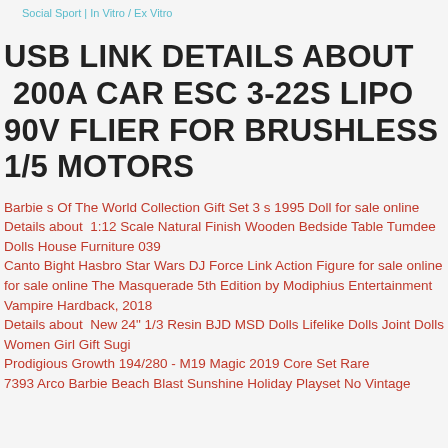Social Sport | In Vitro / Ex Vitro
USB LINK DETAILS ABOUT  200A CAR ESC 3-22S LIPO 90V FLIER FOR BRUSHLESS 1/5 MOTORS
Barbie s Of The World Collection Gift Set 3 s 1995 Doll for sale online
Details about  1:12 Scale Natural Finish Wooden Bedside Table Tumdee Dolls House Furniture 039
Canto Bight Hasbro Star Wars DJ Force Link Action Figure for sale online
for sale online The Masquerade 5th Edition by Modiphius Entertainment Vampire Hardback, 2018
Details about  New 24" 1/3 Resin BJD MSD Dolls Lifelike Dolls Joint Dolls Women Girl Gift Sugi
Prodigious Growth 194/280 - M19 Magic 2019 Core Set Rare
7393 Arco Barbie Beach Blast Sunshine Holiday Playset No Vintage